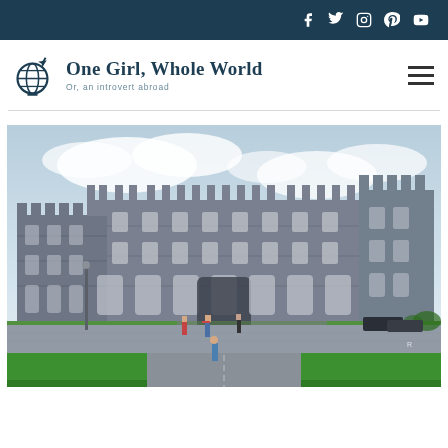Social media icon bar: Facebook, Twitter, Instagram, Pinterest, YouTube
[Figure (logo): One Girl, Whole World blog logo with globe and airplane icon, tagline: Or, an introvert abroad]
[Figure (photo): Kilkenny Castle, Ireland — large grey stone medieval castle with battlements, green lawn in foreground, cloudy sky, tourists visible]